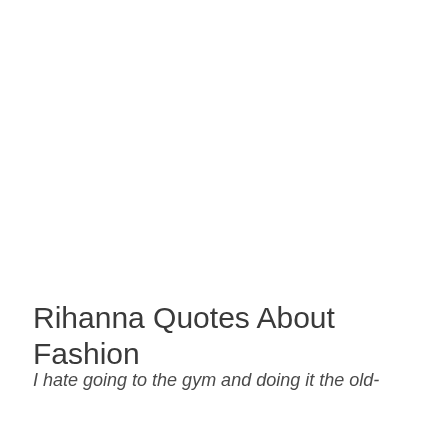Rihanna Quotes About Fashion
I hate going to the gym and doing it the old-